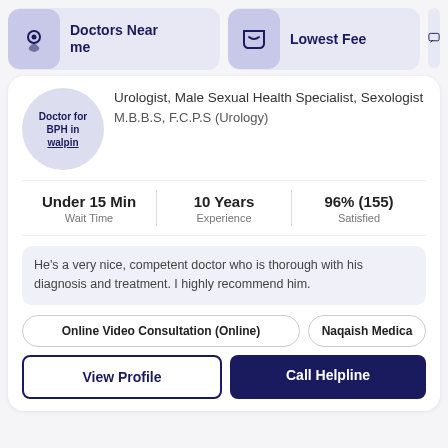Doctors Near me | Lowest Fee
Doctor for BPH in walpin
Urologist, Male Sexual Health Specialist, Sexologist
M.B.B.S, F.C.P.S (Urology)
Under 15 Min Wait Time | 10 Years Experience | 96% (155) Satisfied
He's a very nice, competent doctor who is thorough with his diagnosis and treatment. I highly recommend him.
Online Video Consultation (Online)
Naqaish Medica
View Profile
Call Helpline